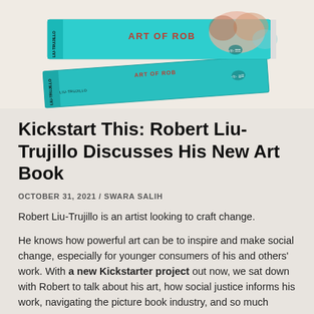[Figure (photo): Two teal-covered books titled 'ART OF ROB' by LIU-TRUJILLO stacked on a light beige background, with colorful illustrated covers visible.]
Kickstart This: Robert Liu-Trujillo Discusses His New Art Book
OCTOBER 31, 2021 / SWARA SALIH
Robert Liu-Trujillo is an artist looking to craft change.
He knows how powerful art can be to inspire and make social change, especially for younger consumers of his and others' work. With a new Kickstarter project out now, we sat down with Robert to talk about his art, how social justice informs his work, navigating the picture book industry, and so much more.